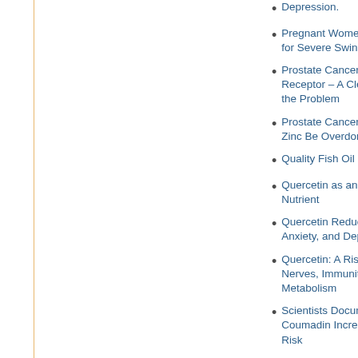Depression.
Pregnant Women Higher Risk for Severe Swine Flu
Prostate Cancer the Androgen Receptor – A Clear Picture of the Problem
Prostate Cancer Zinc – Can Zinc Be Overdone?
Quality Fish Oil
Quercetin as an Anti-Cancer Nutrient
Quercetin Reduces Pain, Anxiety, and Depression
Quercetin: A Rising Star for Nerves, Immunity, and Metabolism
Scientists Document How Coumadin Increases Disease Risk